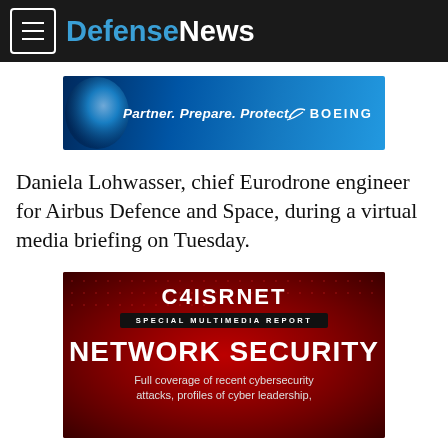DefenseNews
[Figure (illustration): Boeing advertisement banner: 'Partner. Prepare. Protect.' with Boeing logo on dark blue background]
Daniela Lohwasser, chief Eurodrone engineer for Airbus Defence and Space, during a virtual media briefing on Tuesday.
[Figure (illustration): C4ISRNET Special Multimedia Report — Network Security. Full coverage of recent cybersecurity attacks, profiles of cyber leadership, on red dotted background.]